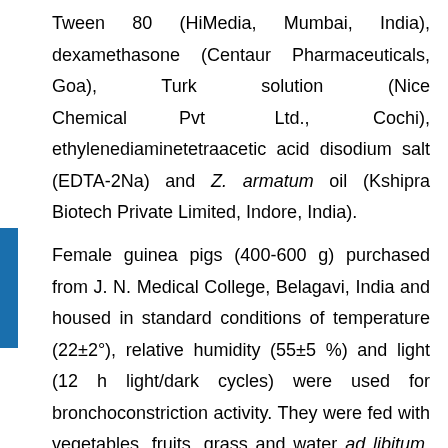Tween 80 (HiMedia, Mumbai, India), dexamethasone (Centaur Pharmaceuticals, Goa), Turk solution (Nice Chemical Pvt Ltd., Cochi), ethylenediaminetetraacetic acid disodium salt (EDTA-2Na) and Z. armatum oil (Kshipra Biotech Private Limited, Indore, India).
Female guinea pigs (400-600 g) purchased from J. N. Medical College, Belagavi, India and housed in standard conditions of temperature (22±2°), relative humidity (55±5 %) and light (12 h light/dark cycles) were used for bronchoconstriction activity. They were fed with vegetables, fruits, grass and water ad libitum. Female albino mice (18-25 g) were purchased from Sri Venkateshwara enterprises,